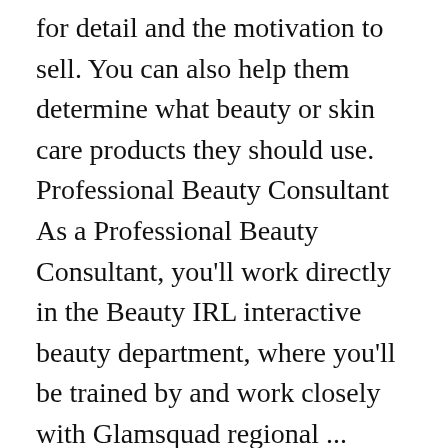for detail and the motivation to sell. You can also help them determine what beauty or skin care products they should use. Professional Beauty Consultant As a Professional Beauty Consultant, you'll work directly in the Beauty IRL interactive beauty department, where you'll be trained by and work closely with Glamsquad regional ... 1,375 Makeup Consultant jobs available on Indeed.com. Job email alerts. Indeed may be compensated by these employers, helping keep Indeed free for jobseekers. A beauty consultant can do various activities to make money; for example, you can advise other women on appropriate types of make-up to wear for their skin type. Page 1 of